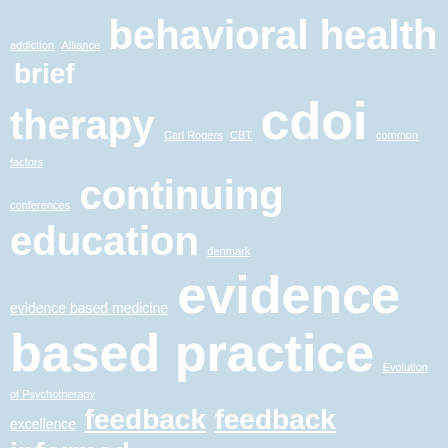[Figure (infographic): Tag cloud / word cloud on a light blue background featuring healthcare and psychology-related terms in varying font sizes and white color with underlines. Terms include: addiction, Alliance, behavioral health, brief, therapy, Carl Rogers, CBT, cdoi, common factors, conferences, continuing education, denmark, evidence based medicine, evidence based practice, Evolution of Psychotherapy, excellence, feedback, feedback informed, treatment, healthcare, holland, icce, International center for clinical excellence, medicine, mental health, meta-analysis, Norway, NREPP, ors, outcome, measurement, outcome rating scale, post traumatic stress, practice-based evidence, psychology, and more.]